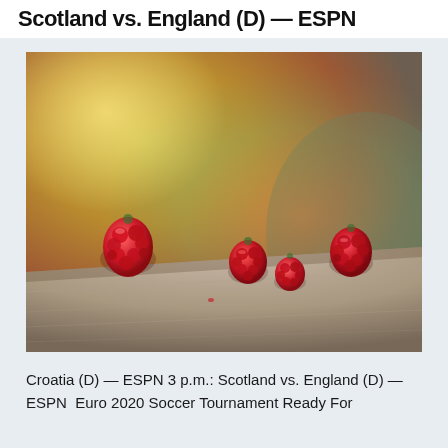Scotland vs. England (D) — ESPN
[Figure (photo): Close-up photo of four raspberries sitting on a wooden surface with a warm golden bokeh background with soft sunlight.]
Croatia (D) — ESPN 3 p.m.: Scotland vs. England (D) — ESPN  Euro 2020 Soccer Tournament Ready For